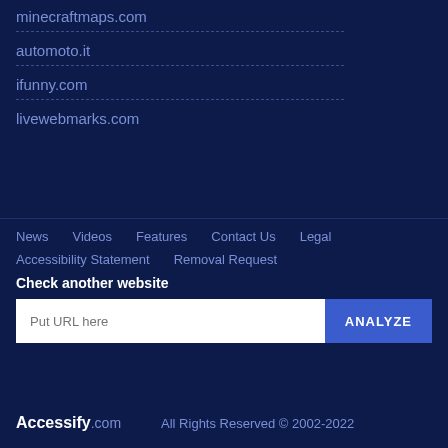minecraftmaps.com
automoto.it
ifunny.com
livewebmarks.com
News   Videos   Features   Contact Us   Legal   Accessibility Statement   Removal Request
Check another website
Put URL here   ANALYZE
Accessify.com   All Rights Reserved © 2002-2022